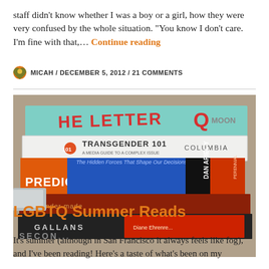staff didn't know whether I was a boy or a girl, how they were very confused by the whole situation. "You know I don't care. I'm fine with that,… Continue reading
MICAH / DECEMBER 5, 2012 / 21 COMMENTS
[Figure (photo): Stack of books photographed from the side showing spines: The Letter Q (teal), Transgender 101 (white, Columbia), Predictably Irrational by Dan Ariely (orange/blue), and other books on a desk]
LGBTQ Summer Reads
It's summer (although in San Francisco it always feels like fog), and I've been reading! Here's a taste of what's been on my bookshelf this summer. Sex and Gender, Dom Collins, I met Dom at...